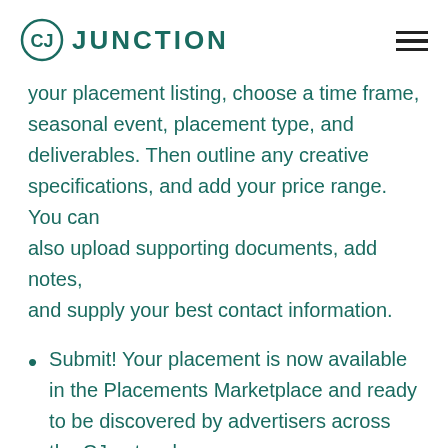CJ JUNCTION
your placement listing, choose a time frame, seasonal event, placement type, and deliverables. Then outline any creative specifications, and add your price range. You can also upload supporting documents, add notes, and supply your best contact information.
Submit! Your placement is now available in the Placements Marketplace and ready to be discovered by advertisers across the CJ network.
For step-by-step instructions and more information about getting started with the Placements...